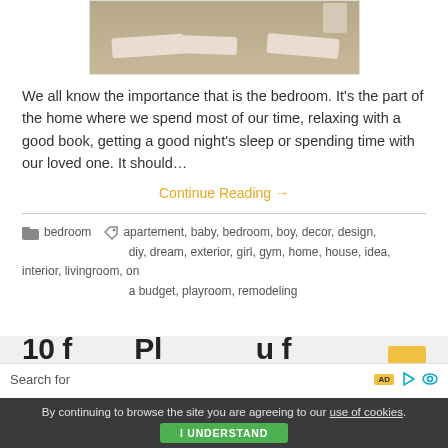[Figure (photo): Photo of a bed/sofa with decorative pillows with floral pattern, on a beige/tan colored surface]
We all know the importance that is the bedroom. It's the part of the home where we spend most of our time, relaxing with a good book, getting a good night's sleep or spending time with our loved one. It should…
Continue Reading →
bedroom   apartement, baby, bedroom, boy, decor, design, diy, dream, exterior, girl, gym, home, house, idea, interior, livingroom, on a budget, playroom, remodeling
By continuing to browse the site you are agreeing to our use of cookies. I UNDERSTAND